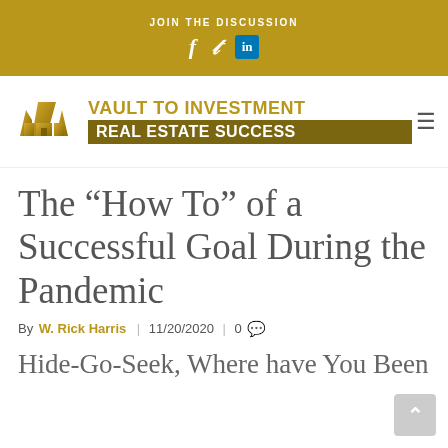JOIN THE DISCUSSION
[Figure (logo): Vault to Investment Real Estate Success logo with crown/house icon in gold]
The “How To” of a Successful Goal During the Pandemic
By W. Rick Harris | 11/20/2020 | 0
Hide-Go-Seek, Where have You Been